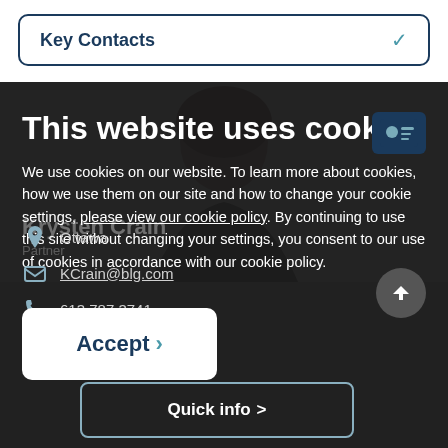Key Contacts
This website uses cookies
We use cookies on our website. To learn more about cookies, how we use them on our site and how to change your cookie settings, please view our cookie policy. By continuing to use this site without changing your settings, you consent to our use of cookies in accordance with our cookie policy.
[Figure (photo): Profile photo of a person with dark hair wearing a dark top, partially visible behind cookie consent overlay]
Ottawa
KCrain@blg.com
613.787.3741
Accept
Quick info